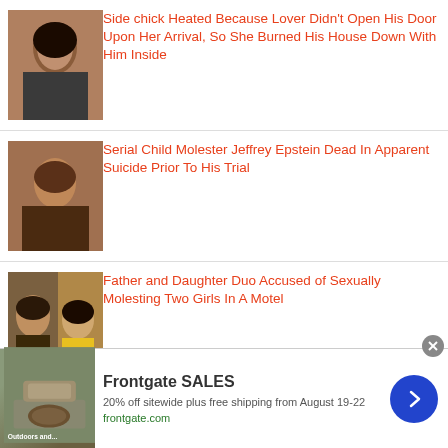[Figure (photo): Mugshot of a woman]
Side chick Heated Because Lover Didn't Open His Door Upon Her Arrival, So She Burned His House Down With Him Inside
[Figure (photo): Mugshot of a man]
Serial Child Molester Jeffrey Epstein Dead In Apparent Suicide Prior To His Trial
[Figure (photo): Mugshots of a man and woman side by side]
Father and Daughter Duo Accused of Sexually Molesting Two Girls In A Motel
[Figure (photo): Partial thumbnail of a video]
[VIDEO] Georgia Woman Deliberately
[Figure (photo): Advertisement image showing outdoor furniture with fire pit]
Frontgate SALES
20% off sitewide plus free shipping from August 19-22
frontgate.com